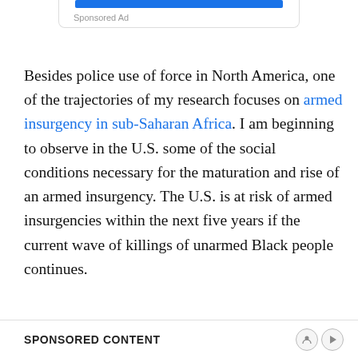[Figure (other): Sponsored ad box with blue bar at top and 'Sponsored Ad' label]
Besides police use of force in North America, one of the trajectories of my research focuses on armed insurgency in sub-Saharan Africa. I am beginning to observe in the U.S. some of the social conditions necessary for the maturation and rise of an armed insurgency. The U.S. is at risk of armed insurgencies within the next five years if the current wave of killings of unarmed Black people continues.
SPONSORED CONTENT